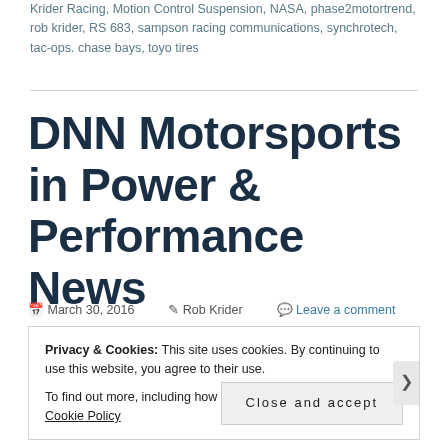Krider Racing, Motion Control Suspension, NASA, phase2motortrend, rob krider, RS 683, sampson racing communications, synchrotech, tac-ops. chase bays, toyo tires
DNN Motorsports in Power & Performance News
March 30, 2016   Rob Krider   Leave a comment
Privacy & Cookies: This site uses cookies. By continuing to use this website, you agree to their use.
To find out more, including how to control cookies, see here: Cookie Policy
Close and accept